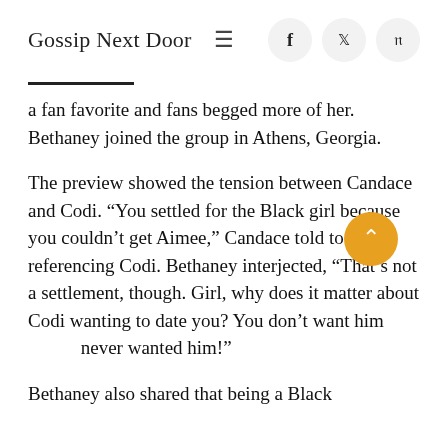Gossip Next Door
a fan favorite and fans begged more of her. Bethaney joined the group in Athens, Georgia.
The preview showed the tension between Candace and Codi. “You settled for the Black girl because you couldn’t get Aimee,” Candace told to Codi referencing Codi. Bethaney interjected, “That’s not a settlement, though. Girl, why does it matter about Codi wanting to date you? You don’t want him, never wanted him!”
Bethaney also shared that being a Black...